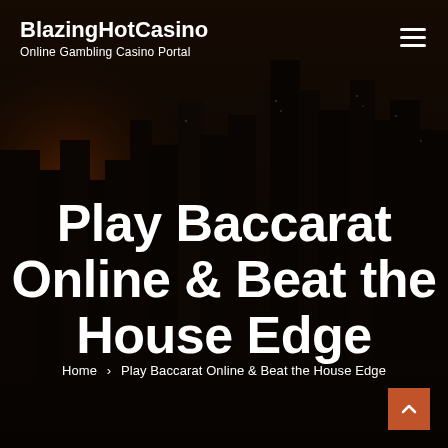BlazingHotCasino — Online Gambling Casino Portal
Play Baccarat Online & Beat the House Edge
Home › Play Baccarat Online & Beat the House Edge
[Figure (photo): Dark nighttime city skyline background with tall skyscrapers lit against a deep brown-black sky, with an orange-red light glow visible on the left side.]